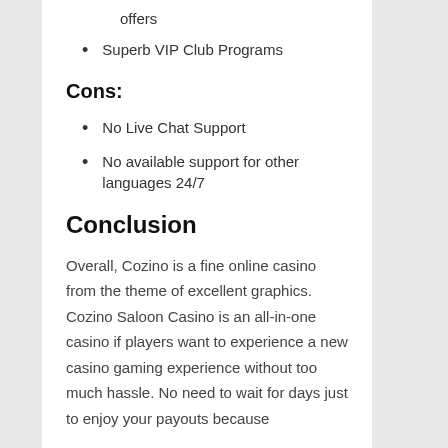offers
Superb VIP Club Programs
Cons:
No Live Chat Support
No available support for other languages 24/7
Conclusion
Overall, Cozino is a fine online casino from the theme of excellent graphics. Cozino Saloon Casino is an all-in-one casino if players want to experience a new casino gaming experience without too much hassle. No need to wait for days just to enjoy your payouts because